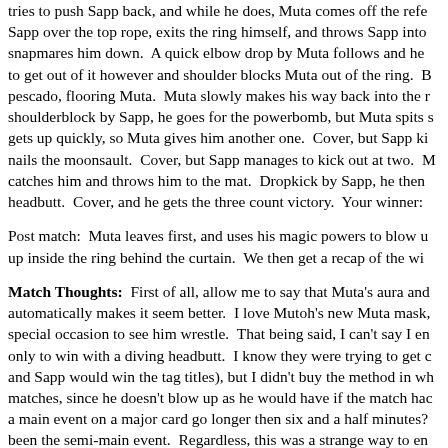tries to push Sapp back, and while he does, Muta comes off the ref Sapp over the top rope, exits the ring himself, and throws Sapp into snapmares him down.  A quick elbow drop by Muta follows and he to get out of it however and shoulder blocks Muta out of the ring.  B pescado, flooring Muta.  Muta slowly makes his way back into the r shoulderblock by Sapp, he goes for the powerbomb, but Muta spits gets up quickly, so Muta gives him another one.  Cover, but Sapp ki nails the moonsault.  Cover, but Sapp manages to kick out at two.  M catches him and throws him to the mat.  Dropkick by Sapp, he then headbutt.  Cover, and he gets the three count victory.  Your winner:
Post match:  Muta leaves first, and uses his magic powers to blow u up inside the ring behind the curtain.  We then get a recap of the wi
Match Thoughts:  First of all, allow me to say that Muta's aura and automatically makes it seem better.  I love Mutoh's new Muta mask, special occasion to see him wrestle.  That being said, I can't say I en only to win with a diving headbutt.  I know they were trying to get c and Sapp would win the tag titles), but I didn't buy the method in wh matches, since he doesn't blow up as he would have if the match had a main event on a major card go longer then six and a half minutes? been the semi-main event.  Regardless, this was a strange way to en the whole thing.  Score: 5.0
Final Thoughts: